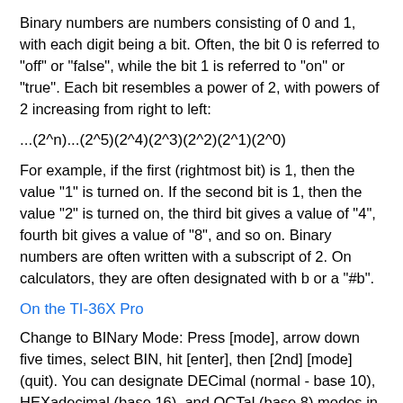Binary numbers are numbers consisting of 0 and 1, with each digit being a bit. Often, the bit 0 is referred to "off" or "false", while the bit 1 is referred to "on" or "true". Each bit resembles a power of 2, with powers of 2 increasing from right to left:
For example, if the first (rightmost bit) is 1, then the value "1" is turned on. If the second bit is 1, then the value "2" is turned on, the third bit gives a value of "4", fourth bit gives a value of "8", and so on. Binary numbers are often written with a subscript of 2. On calculators, they are often designated with b or a "#b".
On the TI-36X Pro
Change to BINary Mode: Press [mode], arrow down five times, select BIN, hit [enter], then [2nd] [mode] (quit). You can designate DECimal (normal - base 10), HEXadecimal (base 16), and OCTal (base 8) modes in a similar way.